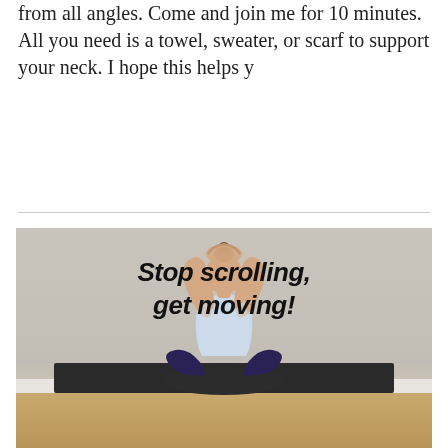from all angles. Come and join me for 10 minutes. All you need is a towel, sweater, or scarf to support your neck. I hope this helps y
[Figure (photo): A woman in a white tank top and dark pants sits cross-legged on a black yoga mat on a wooden floor, with her arms raised above her head, palms together. The background is a light grey wall. Overlaid text in bold italic black reads: Stop scrolling, get moving!]